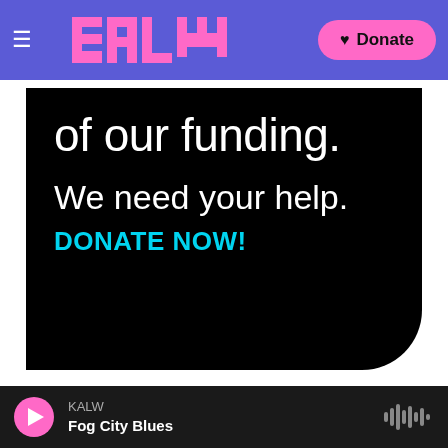KALW navigation bar with logo and Donate button
[Figure (screenshot): KALW radio station website header with purple navigation bar, pink pixel-style logo, and pink Donate button with heart icon]
of our funding.
We need your help.
DONATE NOW!
Sponsorship for Local Businesses
Special rates and packages
KALW — Fog City Blues